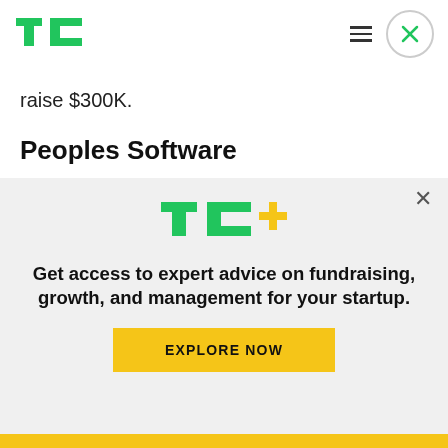TechCrunch navigation header with TC logo, hamburger menu, and close button
raise $300K.
Peoples Software
Peoples Software – WhozAround? from People's Software takes the pain out of making plans with your friends with planning and scheduling tools that plug right into your Facebook account, your contact
[Figure (logo): TC+ logo with green TC letters and yellow plus sign]
Get access to expert advice on fundraising, growth, and management for your startup.
EXPLORE NOW